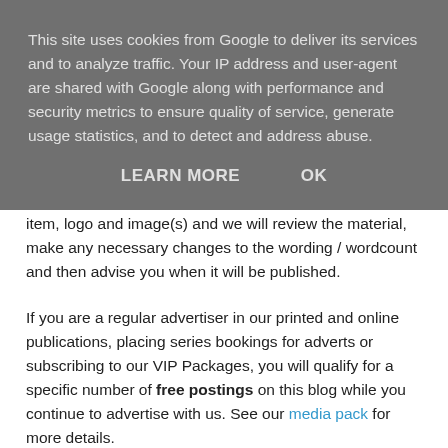This site uses cookies from Google to deliver its services and to analyze traffic. Your IP address and user-agent are shared with Google along with performance and security metrics to ensure quality of service, generate usage statistics, and to detect and address abuse.
LEARN MORE   OK
item, logo and image(s) and we will review the material, make any necessary changes to the wording / wordcount and then advise you when it will be published.
If you are a regular advertiser in our printed and online publications, placing series bookings for adverts or subscribing to our VIP Packages, you will qualify for a specific number of free postings on this blog while you continue to advertise with us. See our media pack for more details.
Also, if you purchase one of our Online and Print Combo packages, Featured Articles or Advertorial packages shown in our media pack, posting on this blog is included in the